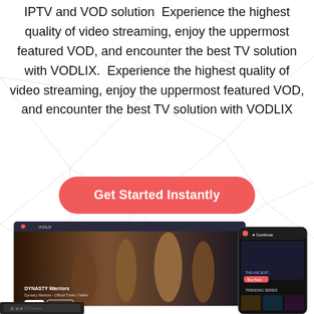IPTV and VOD solution  Experience the highest quality of video streaming, enjoy the uppermost featured VOD, and encounter the best TV solution with VODLIX.  Experience the highest quality of video streaming, enjoy the uppermost featured VOD, and encounter the best TV solution with VODLIX
[Figure (other): Red rounded rectangle button with white text reading 'Get Started Instantly']
[Figure (screenshot): Screenshot of VODLIX streaming platform interface showing a fantasy/historical drama with warriors, alongside a mobile app view with dark UI and movie thumbnails, and a TV device below]